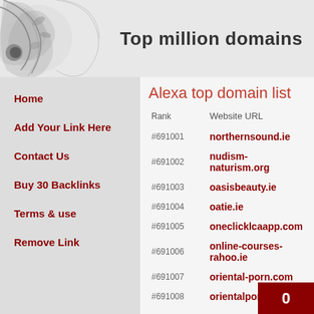[Figure (illustration): Decorative floral/ornamental corner illustration in black and white]
Top million domains
Alexa top domain list
Home
Add Your Link Here
Contact Us
Buy 30 Backlinks
Terms & use
Remove Link
| Rank | Website URL |
| --- | --- |
| #691001 | northernsound.ie |
| #691002 | nudism-naturism.org |
| #691003 | oasisbeauty.ie |
| #691004 | oatie.ie |
| #691005 | oneclicklcaapp.com |
| #691006 | online-courses-rahoo.ie |
| #691007 | oriental-porn.com |
| #691008 | orientalpornzone... |